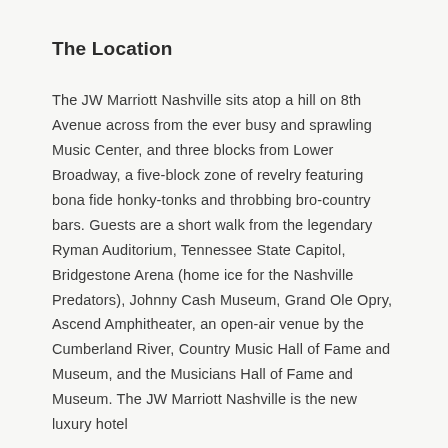The Location
The JW Marriott Nashville sits atop a hill on 8th Avenue across from the ever busy and sprawling Music Center, and three blocks from Lower Broadway, a five-block zone of revelry featuring bona fide honky-tonks and throbbing bro-country bars. Guests are a short walk from the legendary Ryman Auditorium, Tennessee State Capitol, Bridgestone Arena (home ice for the Nashville Predators), Johnny Cash Museum, Grand Ole Opry, Ascend Amphitheater, an open-air venue by the Cumberland River, Country Music Hall of Fame and Museum, and the Musicians Hall of Fame and Museum. The JW Marriott Nashville is the new luxury hotel